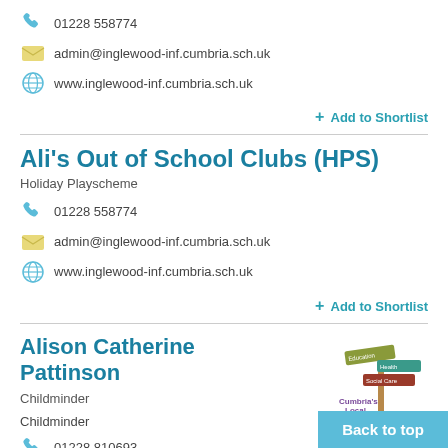01228 558774
admin@inglewood-inf.cumbria.sch.uk
www.inglewood-inf.cumbria.sch.uk
+ Add to Shortlist
Ali's Out of School Clubs (HPS)
Holiday Playscheme
01228 558774
admin@inglewood-inf.cumbria.sch.uk
www.inglewood-inf.cumbria.sch.uk
+ Add to Shortlist
Alison Catherine Pattinson
Childminder
Childminder
01228 810693
[Figure (logo): Cumbria's Local Offer signpost logo with coloured arms for Education, Health, Social Care]
Back to top